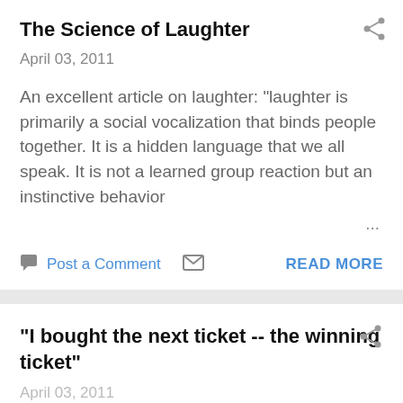The Science of Laughter
April 03, 2011
An excellent article on laughter: "laughter is primarily a social vocalization that binds people together. It is a hidden language that we all speak. It is not a learned group reaction but an instinctive behavior ...
Post a Comment   READ MORE
"I bought the next ticket -- the winning ticket"
April 03, 2011